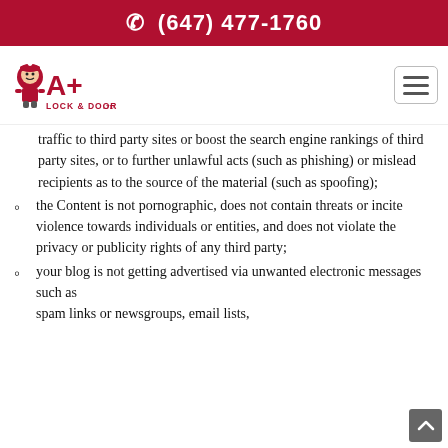(647) 477-1760
[Figure (logo): A+ Lock & Door Ltd. logo with mascot character]
traffic to third party sites or boost the search engine rankings of third party sites, or to further unlawful acts (such as phishing) or mislead recipients as to the source of the material (such as spoofing);
the Content is not pornographic, does not contain threats or incite violence towards individuals or entities, and does not violate the privacy or publicity rights of any third party;
your blog is not getting advertised via unwanted electronic messages such as spam links or newsgroups, email lists,